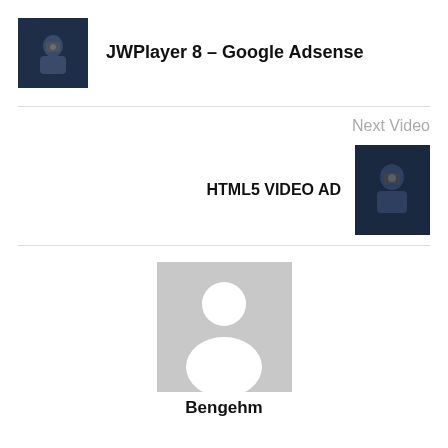[Figure (photo): Thumbnail image of a person with camera in dark setting]
JWPlayer 8 – Google Adsense
Next Video
HTML5 VIDEO AD
[Figure (photo): Thumbnail image of a person with camera in dark setting]
[Figure (photo): Gray placeholder avatar silhouette image]
Bengehm